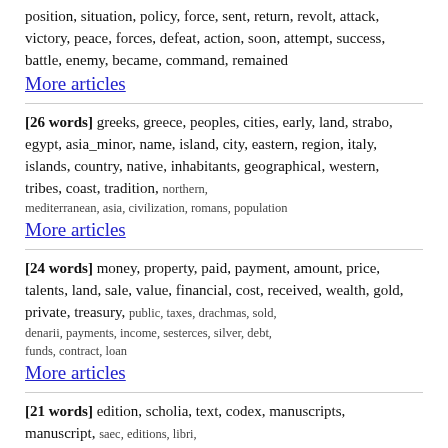position, situation, policy, force, sent, return, revolt, attack, victory, peace, forces, defeat, action, soon, attempt, success, battle, enemy, became, command, remained
More articles
[26 words] greeks, greece, peoples, cities, early, land, strabo, egypt, asia_minor, name, island, city, eastern, region, italy, islands, country, native, inhabitants, geographical, western, tribes, coast, tradition, northern, mediterranean, asia, civilization, romans, population
More articles
[24 words] money, property, paid, payment, amount, price, talents, land, sale, value, financial, cost, received, wealth, gold, private, treasury, public, taxes, drachmas, sold, denarii, payments, income, sesterces, silver, debt, funds, contract, loan
More articles
[21 words] edition, scholia, text, codex, manuscripts, manuscript, saec, editions, libri, readings, bibl, parisinus, teubner, moschoraulean, scaliger